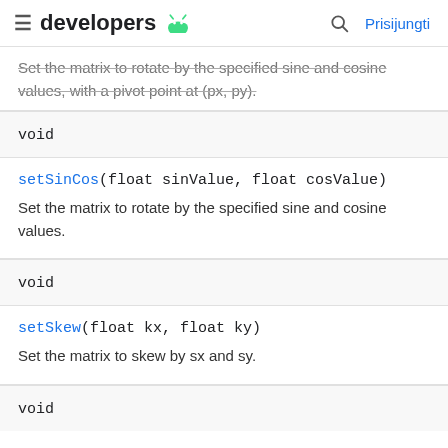developers  [android icon]  [search]  Prisijungti
Set the matrix to rotate by the specified sine and cosine values, with a pivot point at (px, py).
| void | setSinCos(float sinValue, float cosValue) | Set the matrix to rotate by the specified sine and cosine values. |
| --- | --- | --- |
| void | setSkew(float kx, float ky) | Set the matrix to skew by sx and sy. |
| --- | --- | --- |
void